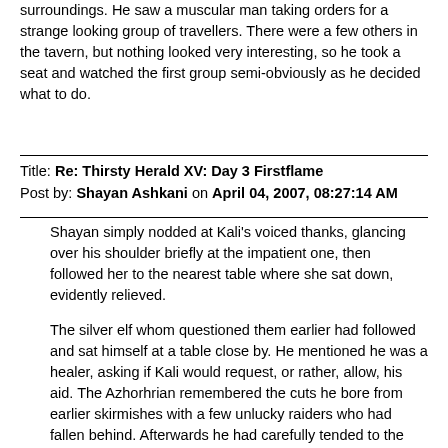surroundings. He saw a muscular man taking orders for a strange looking group of travellers. There were a few others in the tavern, but nothing looked very interesting, so he took a seat and watched the first group semi-obviously as he decided what to do.
Title: Re: Thirsty Herald XV: Day 3 Firstflame
Post by: Shayan Ashkani on April 04, 2007, 08:27:14 AM
Shayan simply nodded at Kali's voiced thanks, glancing over his shoulder briefly at the impatient one, then followed her to the nearest table where she sat down, evidently relieved.
The silver elf whom questioned them earlier had followed and sat himself at a table close by. He mentioned he was a healer, asking if Kali would request, or rather, allow, his aid. The Azhorhrian remembered the cuts he bore from earlier skirmishes with a few unlucky raiders who had fallen behind. Afterwards he had carefully tended to the wounds, so they would heal as quickly as possible.  They were minor injuries though, giving but a light ache one was soon accustomed to and proved a nuisance rather than a complication. He hoped for the young woman her injuries were not grave. The Azhorhria did not think much of healers, but there was no reason to state this opinion out loud, or show it in any other way.
Soon after, a deep voice inquired if they...would like something to eat.  The tall elf addressing them was quite possibly the strangest tavern servant Shayan had ever set